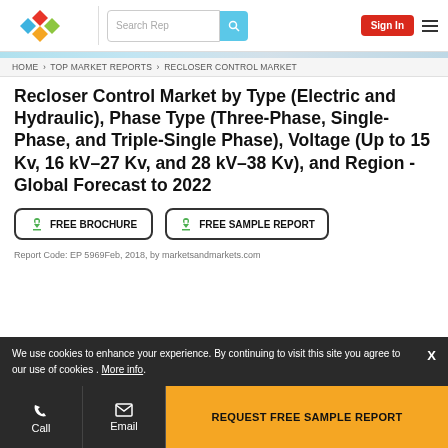MarketsandMarkets logo | Search Rep | Sign In | Menu
HOME › TOP MARKET REPORTS › RECLOSER CONTROL MARKET
Recloser Control Market by Type (Electric and Hydraulic), Phase Type (Three-Phase, Single-Phase, and Triple-Single Phase), Voltage (Up to 15 Kv, 16 kV–27 Kv, and 28 kV–38 Kv), and Region - Global Forecast to 2022
FREE BROCHURE   FREE SAMPLE REPORT
Report Code: EP 5969Feb, 2018, by marketsandmarkets.com
We use cookies to enhance your experience. By continuing to visit this site you agree to our use of cookies . More info.
Call  Email  REQUEST FREE SAMPLE REPORT